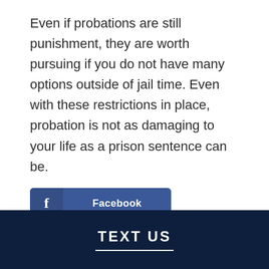Even if probations are still punishment, they are worth pursuing if you do not have many options outside of jail time. Even with these restrictions in place, probation is not as damaging to your life as a prison sentence can be.
[Figure (infographic): Three social media share buttons: Facebook (dark blue), Twitter (light blue), LinkedIn (medium blue), each with an icon on the left and the platform name in bold white text.]
TEXT US